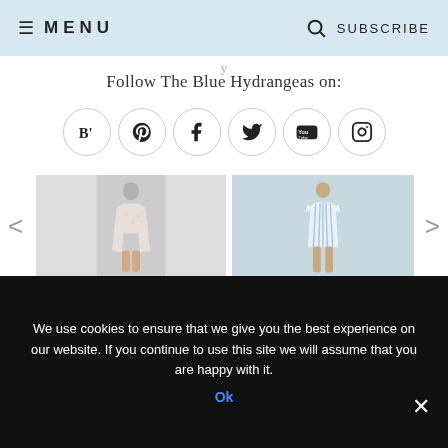≡ MENU   🔍 SUBSCRIBE
Follow The Blue Hydrangeas on:
[Figure (other): Row of social media icon buttons: Bloglovin, Pinterest, Facebook, Twitter, YouTube, Instagram]
[Figure (photo): Two product photos of women's dresses/rompers side by side with left and right navigation arrows]
We use cookies to ensure that we give you the best experience on our website. If you continue to use this site we will assume that you are happy with it.
Ok